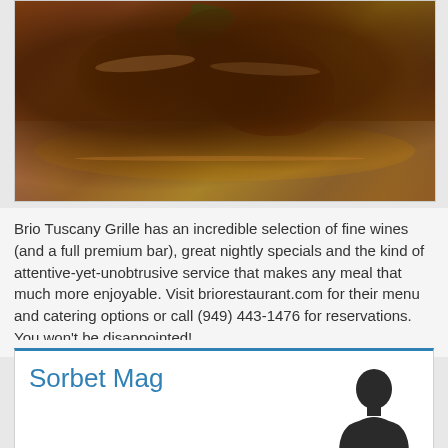[Figure (photo): Photo of braised meat dish (osso buco or short ribs) with dark sauce and rosemary garnish on a white plate]
Brio Tuscany Grille has an incredible selection of fine wines (and a full premium bar), great nightly specials and the kind of attentive-yet-unobtrusive service that makes any meal that much more enjoyable. Visit briorestaurant.com for their menu and catering options or call (949) 443-1476 for reservations. You won't be disappointed!
Sorbet Mag
[Figure (illustration): Generic user/author silhouette avatar icon in dark gray]